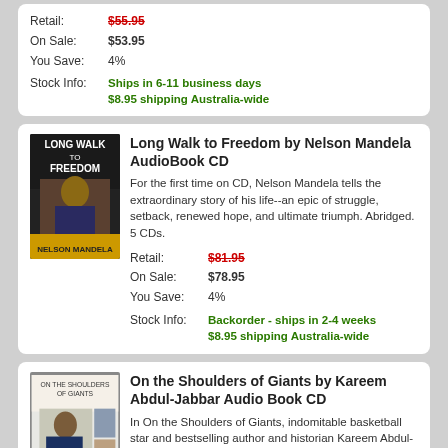| Label | Value |
| --- | --- |
| Retail: | $55.95 |
| On Sale: | $53.95 |
| You Save: | 4% |
| Stock Info: | Ships in 6-11 business days $8.95 shipping Australia-wide |
Long Walk to Freedom by Nelson Mandela AudioBook CD
For the first time on CD, Nelson Mandela tells the extraordinary story of his life--an epic of struggle, setback, renewed hope, and ultimate triumph. Abridged. 5 CDs.
| Label | Value |
| --- | --- |
| Retail: | $81.95 |
| On Sale: | $78.95 |
| You Save: | 4% |
| Stock Info: | Backorder - ships in 2-4 weeks $8.95 shipping Australia-wide |
On the Shoulders of Giants by Kareem Abdul-Jabbar Audio Book CD
In On the Shoulders of Giants, indomitable basketball star and bestselling author and historian Kareem Abdul-Jabbar invites readers on an extraordinarily personal journey back to his birthplace, through one of the greatest political, cultural, literary, and artistic movements in our history, revealing the tremendous impact the Harlem Renaissance had on both American culture and his own life.